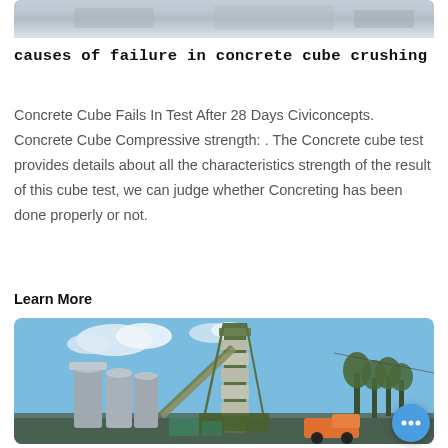[Figure (photo): Top portion of an image showing a snowy or icy industrial/construction scene, partially cropped at the top of the page.]
causes of failure in concrete cube crushing
Concrete Cube Fails In Test After 28 Days Civiconcepts. Concrete Cube Compressive strength: . The Concrete cube test provides details about all the characteristics strength of the result of this cube test, we can judge whether Concreting has been done properly or not.
Learn More
[Figure (photo): Photo of an industrial concrete/asphalt mixing plant with tall green metal tower structure, silos, conveyor belt, trees in background, and an orange truck visible at the base. Blue sky with clouds.]